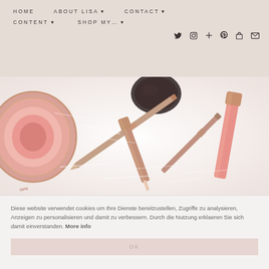HOME  ABOUT LISA ▾  CONTACT ▾  CONTENT ▾  SHOP MY… ▾
[Figure (photo): Flat-lay beauty photo showing makeup products — lip liner pencil, lip gloss, and blush compact — arranged on a white fluffy surface]
Diese website verwendet cookies um Ihre Dienste bereitzustellen, Zugriffe zu analysieren, Anzeigen zu personalisieren und damit zu verbessern. Durch die Nutzung erklaeren Sie sich damit einverstanden. More info
OK